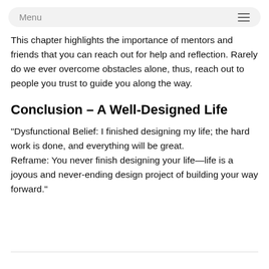Menu
This chapter highlights the importance of mentors and friends that you can reach out for help and reflection. Rarely do we ever overcome obstacles alone, thus, reach out to people you trust to guide you along the way.
Conclusion – A Well-Designed Life
“Dysfunctional Belief: I finished designing my life; the hard work is done, and everything will be great.
Reframe: You never finish designing your life—life is a joyous and never-ending design project of building your way forward.”